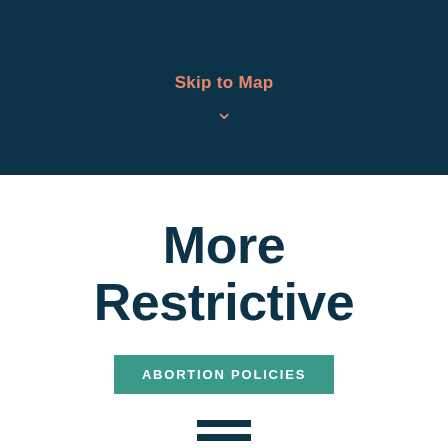Skip to Map
More Restrictive
ABORTION POLICIES
=
Fewer Policies